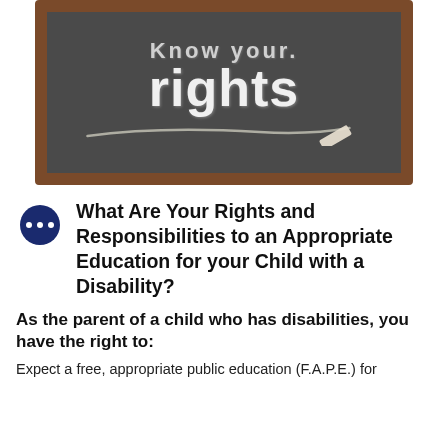[Figure (photo): A chalkboard with the text 'Know your rights' written in chalk, with a chalk piece resting at the bottom right. The board has a dark surface with brown wooden frame.]
What Are Your Rights and Responsibilities to an Appropriate Education for your Child with a Disability?
As the parent of a child who has disabilities, you have the right to:
Expect a free, appropriate public education (F.A.P.E.) for